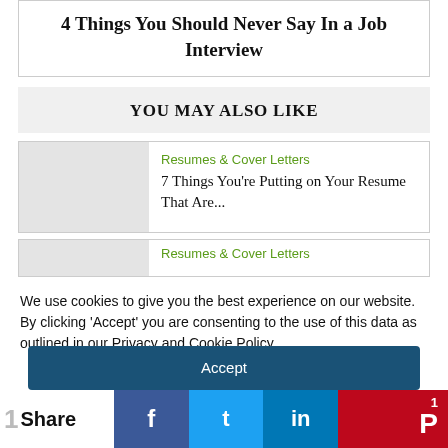4 Things You Should Never Say In a Job Interview
YOU MAY ALSO LIKE
Resumes & Cover Letters
7 Things You're Putting on Your Resume That Are...
Resumes & Cover Letters
We use cookies to give you the best experience on our website. By clicking 'Accept' you are consenting to the use of this data as outlined in our Privacy and Cookie Policy.
Accept
Share